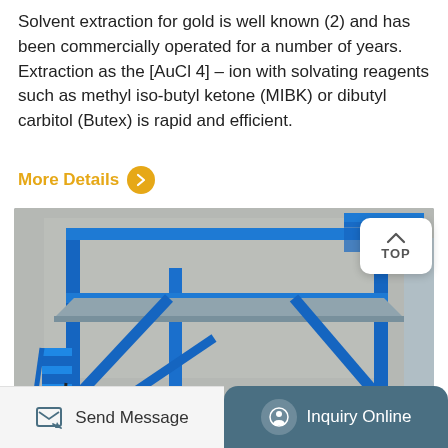Solvent extraction for gold is well known (2) and has been commercially operated for a number of years. Extraction as the [AuCl 4] – ion with solvating reagents such as methyl iso-butyl ketone (MIBK) or dibutyl carbitol (Butex) is rapid and efficient.
More Details
[Figure (photo): Industrial gold extraction equipment: large blue steel frame structure with conveyor/table mechanism, photographed inside an industrial facility. Shows multi-level blue metal scaffolding, diagonal support beams, and processing machinery on the ground level.]
Send Message   Inquiry Online